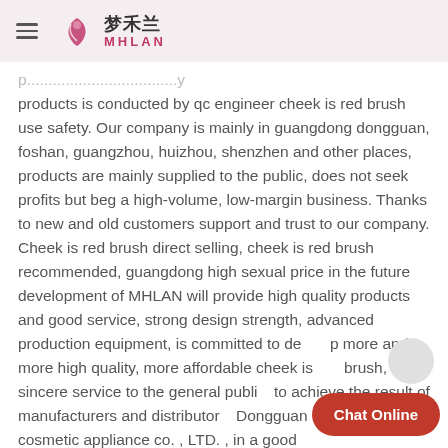梦禾兰 MHLAN
products is conducted by qc engineer cheek is red brush use safety. Our company is mainly in guangdong dongguan, foshan, guangzhou, huizhou, shenzhen and other places, products are mainly supplied to the public, does not seek profits but beg a high-volume, low-margin business. Thanks to new and old customers support and trust to our company. Cheek is red brush direct selling, cheek is red brush recommended, guangdong high sexual price in the future development of MHLAN will provide high quality products and good service, strong design strength, advanced production equipment, is committed to de more and more high quality, more affordable cheek is brush, sincere service to the general public, to achieve the result of manufacturers and distributor Dongguan MHLAN cosmetic appliance co. , LTD. , in a good